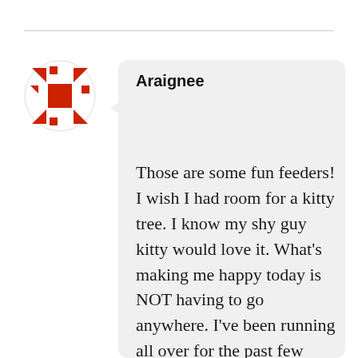[Figure (illustration): Circular avatar icon with red geometric cross/star shape made of triangular fragments on white background inside a circle]
Araignee
Those are some fun feeders! I wish I had room for a kitty tree. I know my shy guy kitty would love it. What’s making me happy today is NOT having to go anywhere. I’ve been running all over for the past few days. I am not used to that much social interaction and it wore me